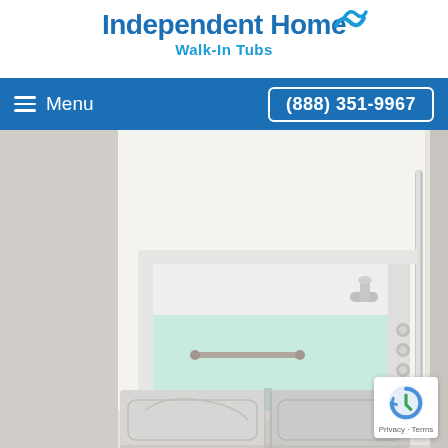[Figure (logo): Independent Home Walk-In Tubs logo with blue wave icon, bold blue text 'Independent Home' and subtitle 'Walk-In Tubs']
Menu   (888) 351-9967
[Figure (photo): Interior photo of a white walk-in tub with silver grab bar, faucet and controls on right side, door panels at front, light green water inside, installed in white bathroom surround with chrome bars]